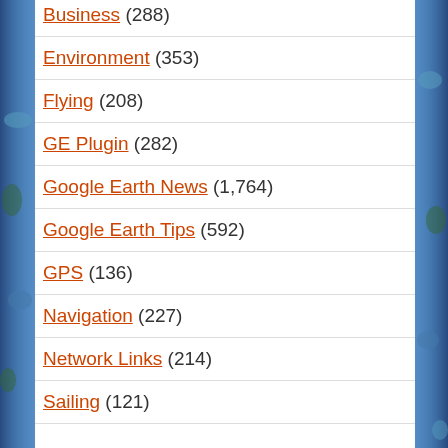Business (288)
Environment (353)
Flying (208)
GE Plugin (282)
Google Earth News (1,764)
Google Earth Tips (592)
GPS (136)
Navigation (227)
Network Links (214)
Sailing (121)